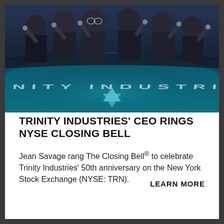[Figure (photo): Group of business people in suits giving thumbs up at the New York Stock Exchange, with the Trinity Industries logo visible on the curved floor in teal and blue colors.]
TRINITY INDUSTRIES' CEO RINGS NYSE CLOSING BELL
Jean Savage rang The Closing Bell® to celebrate Trinity Industries' 50th anniversary on the New York Stock Exchange (NYSE: TRN).
LEARN MORE